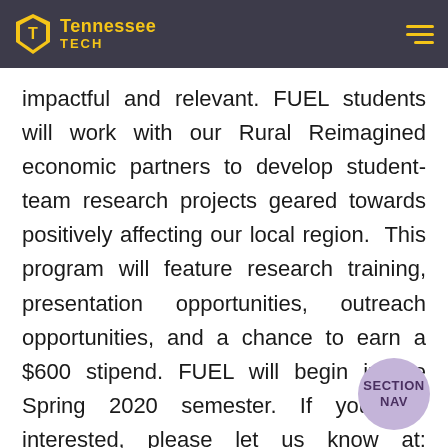Tennessee Tech
impactful and relevant. FUEL students will work with our Rural Reimagined economic partners to develop student-team research projects geared towards positively affecting our local region. This program will feature research training, presentation opportunities, outreach opportunities, and a chance to earn a $600 stipend. FUEL will begin in the Spring 2020 semester. If you are interested, please let us know at: https://www.tntech.edu/holistic-fuel. Contact Dr. Andrea Arce-Trigatti (atrigatti@tntech.edu) for more information.